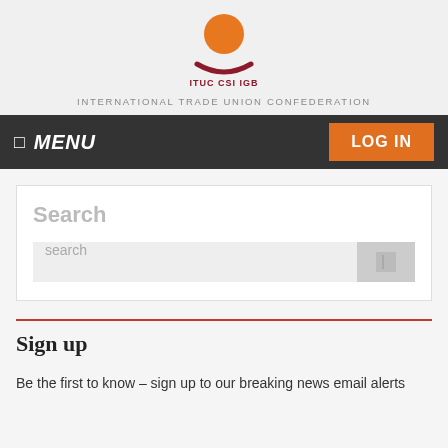[Figure (logo): ITUC CSI IGB logo: orange circle above a dark red crescent/smile shape, with text ITUC CSI IGB below in dark red]
INTERNATIONAL TRADE UNION CONFEDERATION
MENU
LOG IN
Search
search
Sign up
Be the first to know – sign up to our breaking news email alerts